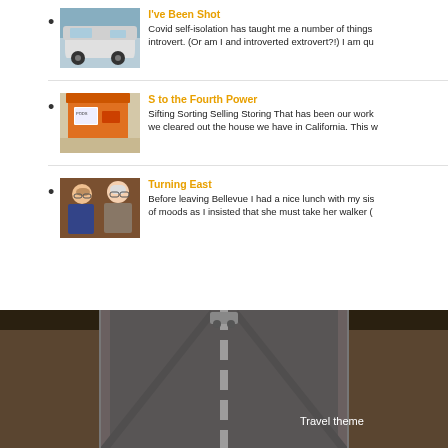I've Been Shot — Covid self-isolation has taught me a number of things about being an introvert. (Or am I and introverted extrovert?!) I am qu...
S to the Fourth Power — Sifting Sorting Selling Storing That has been our work for the past week as we cleared out the house we have in California. This w...
Turning East — Before leaving Bellevue I had a nice lunch with my sis... of moods as I insisted that she must take her walker (...
[Figure (photo): A road stretching into the distance, dark desert landscape, overhead view perspective]
Travel theme...